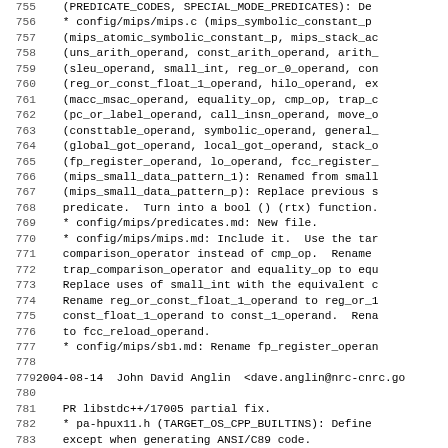Source code changelog/diff listing, lines 755-786, showing MIPS GCC configuration changes and patch entries dated 2004-08-14 by John David Anglin and Nathan Sidwell.